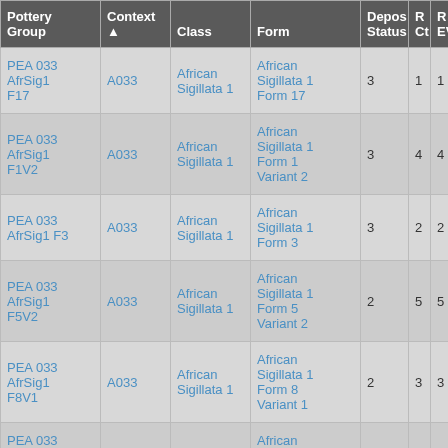| Pottery Group | Context ▲ | Class | Form | Depos Status | R Ct | R EVP |
| --- | --- | --- | --- | --- | --- | --- |
| PEA 033 AfrSig1 F17 | A033 | African Sigillata 1 | African Sigillata 1 Form 17 | 3 | 1 | 1 |
| PEA 033 AfrSig1 F1V2 | A033 | African Sigillata 1 | African Sigillata 1 Form 1 Variant 2 | 3 | 4 | 4 |
| PEA 033 AfrSig1 F3 | A033 | African Sigillata 1 | African Sigillata 1 Form 3 | 3 | 2 | 2 |
| PEA 033 AfrSig1 F5V2 | A033 | African Sigillata 1 | African Sigillata 1 Form 5 Variant 2 | 2 | 5 | 5 |
| PEA 033 AfrSig1 F8V1 | A033 | African Sigillata 1 | African Sigillata 1 Form 8 Variant 1 | 2 | 3 | 3 |
| PEA 033 |  |  | African |  |  |  |